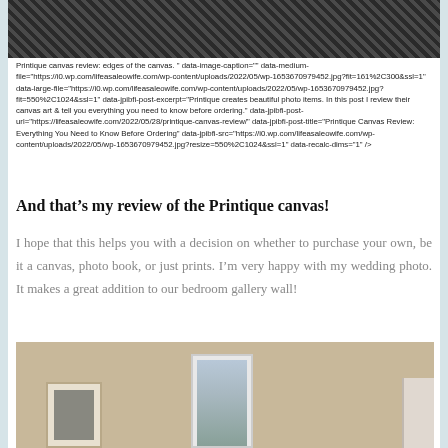[Figure (photo): Close-up of canvas texture/edges, dark woven fabric pattern visible at top of page]
Printique canvas review: edges of the canvas. " data-image-caption="" data-medium-file="https://i0.wp.com/lifeasaleowife.com/wp-content/uploads/2022/05/wp-1653670979452.jpg?fit=161%2C300&ssl=1" data-large-file="https://i0.wp.com/lifeasaleowife.com/wp-content/uploads/2022/05/wp-1653670979452.jpg?fit=550%2C1024&ssl=1" data-jpibfi-post-excerpt="Printique creates beautiful photo items. In this post I review their canvas art & tell you everything you need to know before ordering." data-jpibfi-post-url="https://lifeasaleowife.com/2022/05/28/printique-canvas-review/" data-jpibfi-post-title="Printique Canvas Review: Everything You Need to Know Before Ordering" data-jpibfi-src="https://i0.wp.com/lifeasaleowife.com/wp-content/uploads/2022/05/wp-1653670979452.jpg?resize=550%2C1024&ssl=1" data-recalc-dims="1" />
And that’s my review of the Printique canvas!
I hope that this helps you with a decision on whether to purchase your own, be it a canvas, photo book, or just prints. I’m very happy with my wedding photo. It makes a great addition to our bedroom gallery wall!
[Figure (photo): Photo of a bedroom gallery wall with framed photos arranged on a beige/tan wall, showing three frames of varying sizes]